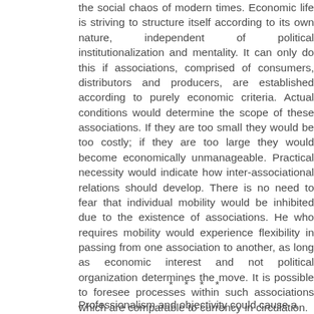the social chaos of modern times. Economic life is striving to structure itself according to its own nature, independent of political institutionalization and mentality. It can only do this if associations, comprised of consumers, distributors and producers, are established according to purely economic criteria. Actual conditions would determine the scope of these associations. If they are too small they would be too costly; if they are too large they would become economically unmanageable. Practical necessity would indicate how inter-associational relations should develop. There is no need to fear that individual mobility would be inhibited due to the existence of associations. He who requires mobility would experience flexibility in passing from one association to another, as long as economic interest and not political organization determines the move. It is possible to foresee processes within such associations which are comparable to currency in circulation.
* * * *
Professionalism and objectivity could cause a